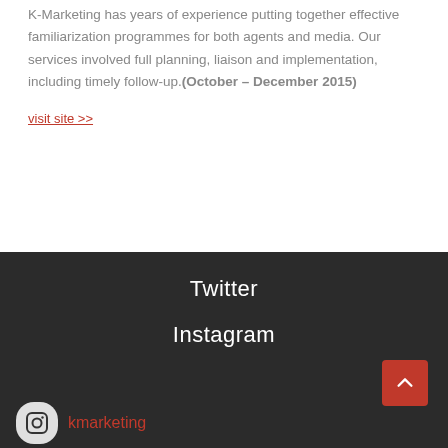K-Marketing has years of experience putting together effective familiarization programmes for both agents and media. Our services involved full planning, liaison and implementation, including timely follow-up.(October – December 2015)
visit site >>
Twitter
Instagram
kmarketing